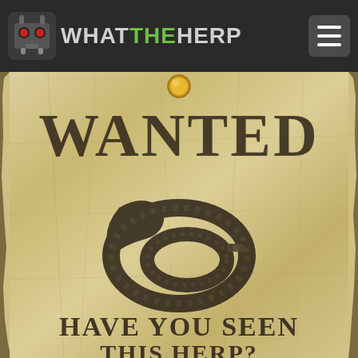WHATTHEHERP
[Figure (illustration): A 'WANTED' poster on crumpled aged parchment paper featuring a coiled rattlesnake illustration in the center, with 'WANTED' text at top and 'HAVE YOU SEEN' text at bottom. A decorative tack/pin is shown at the top of the poster.]